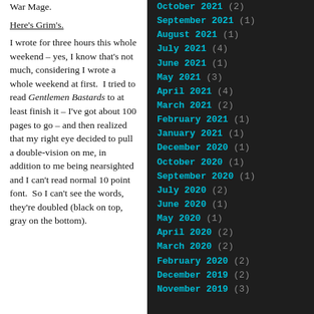War Mage.
Here's Grim's.
I wrote for three hours this whole weekend – yes, I know that's not much, considering I wrote a whole weekend at first.  I tried to read Gentlemen Bastards to at least finish it – I've got about 100 pages to go – and then realized that my right eye decided to pull a double-vision on me, in addition to me being nearsighted and I can't read normal 10 point font.  So I can't see the words, they're doubled (black on top, gray on the bottom).
October 2021 (2)
September 2021 (1)
August 2021 (1)
July 2021 (4)
June 2021 (1)
May 2021 (3)
April 2021 (4)
March 2021 (2)
February 2021 (1)
January 2021 (1)
December 2020 (1)
October 2020 (1)
September 2020 (1)
July 2020 (2)
June 2020 (1)
May 2020 (1)
April 2020 (2)
March 2020 (2)
February 2020 (2)
December 2019 (2)
November 2019 (3)